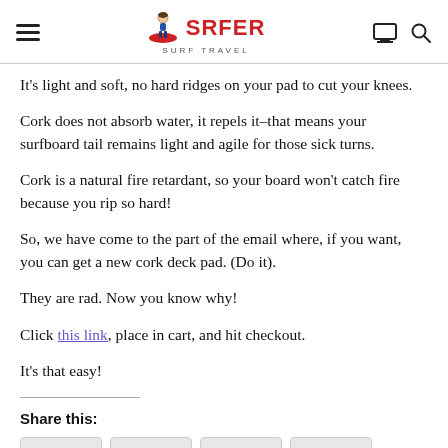SRFER SURF TRAVEL
It's light and soft, no hard ridges on your pad to cut your knees.
Cork does not absorb water, it repels it–that means your surfboard tail remains light and agile for those sick turns.
Cork is a natural fire retardant, so your board won't catch fire because you rip so hard!
So, we have come to the part of the email where, if you want, you can get a new cork deck pad. (Do it).
They are rad. Now you know why!
Click this link, place in cart, and hit checkout.
It's that easy!
Share this: